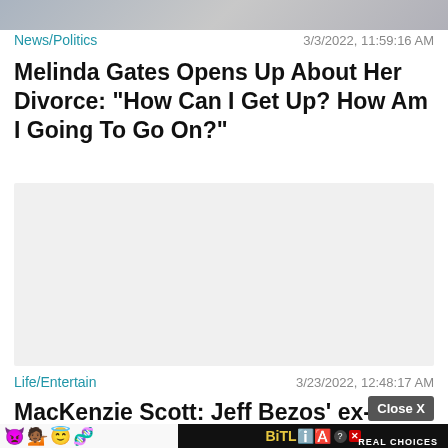[Figure (photo): Cropped photo of two people, partially visible at top of page]
News/Politics   3/3/2022, 11:59:16 AM
Melinda Gates Opens Up About Her Divorce: "How Can I Get Up? How Am I Going To Go On?"
[Figure (other): Gray placeholder advertisement rectangle]
Life/Entertain   3/23/2022, 12:48:17 AM
MacKenzie Scott: Jeff Bezos' ex-wife
[Figure (screenshot): BitLife app advertisement banner with emoji characters and 'REAL CHOICES' text]